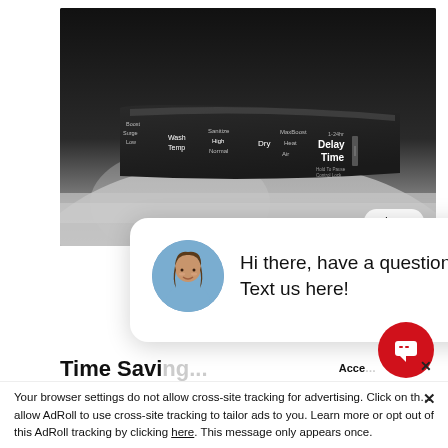[Figure (photo): Close-up black and white photo of a dishwasher control panel with buttons labeled Wash Temp, Sanitize, High, Normal, Dry, Air, MaxBoost, Heat, Delay Time, and other controls on a stainless steel surface.]
close
[Figure (other): Chat popup overlay with circular avatar photo of a woman and text: Hi there, have a question? Text us here!]
Time Savi...
Set your dishwasher in advance to run on your schedule. It can be set to run 1 – 24 hours in...
Acce...
Your browser settings do not allow cross-site tracking for advertising. Click on th... allow AdRoll to use cross-site tracking to tailor ads to you. Learn more or opt out of this AdRoll tracking by clicking here. This message only appears once.